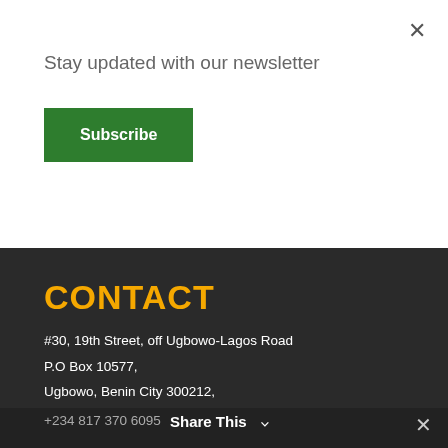Stay updated with our newsletter
Subscribe
CONTACT
#30, 19th Street, off Ugbowo-Lagos Road
P.O Box 10577,
Ugbowo, Benin City 300212,
Nigeria
Tel
+234 906 975 6927
+234 817 370 6095   Share This   ✕